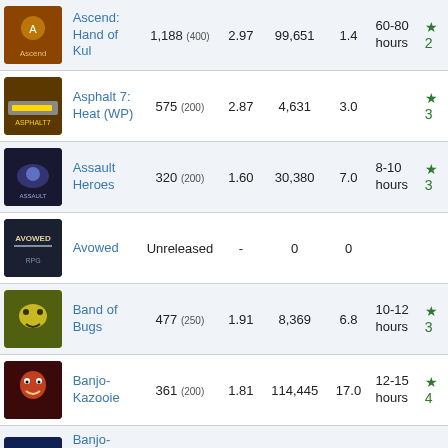| Image | Game | Achievements | Ratio | Players | Avg | Time | Rating |
| --- | --- | --- | --- | --- | --- | --- | --- |
| [img] | Ascend: Hand of Kul | 1,188 (400) | 2.97 | 99,651 | 1.4 | 60-80 hours | ★ 2 |
| [img] | Asphalt 7: Heat (WP) | 575 (200) | 2.87 | 4,631 | 3.0 |  | ★ 3 |
| [img] | Assault Heroes | 320 (200) | 1.60 | 30,380 | 7.0 | 8-10 hours | ★ 3 |
| [img] | Avowed | Unreleased | - | 0 | 0 |  |  |
| [img] | Band of Bugs | 477 (250) | 1.91 | 8,369 | 6.8 | 10-12 hours | ★ 3 |
| [img] | Banjo-Kazooie | 361 (200) | 1.81 | 114,445 | 17.0 | 12-15 hours | ★ 4 |
| [img] | Banjo-Kazooie: Nuts & Bolts | 3,764 (1,250) | 3.01 | 118,683 | 1.4 | 30-35 hours | ★ 3 |
| [img] | Banjo-Tooie | 224 (...) | 1.62 | 48,218 | 18.8 | 15-20 hours | ★ ... |